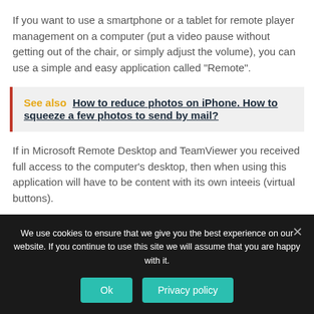If you want to use a smartphone or a tablet for remote player management on a computer (put a video pause without getting out of the chair, or simply adjust the volume), you can use a simple and easy application called “Remote”.
See also  How to reduce photos on iPhone. How to squeeze a few photos to send by mail?
If in Microsoft Remote Desktop and TeamViewer you received full access to the computer’s desktop, then when using this application will have to be content with its own inteeis (virtual buttons).
We use cookies to ensure that we give you the best experience on our website. If you continue to use this site we will assume that you are happy with it.